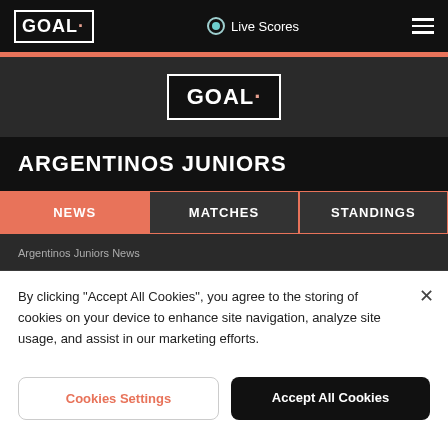GOAL | Live Scores
[Figure (logo): GOAL logo centered on dark background]
ARGENTINOS JUNIORS
NEWS
MATCHES
STANDINGS
Argentinos Juniors News
By clicking "Accept All Cookies", you agree to the storing of cookies on your device to enhance site navigation, analyze site usage, and assist in our marketing efforts.
Cookies Settings
Accept All Cookies